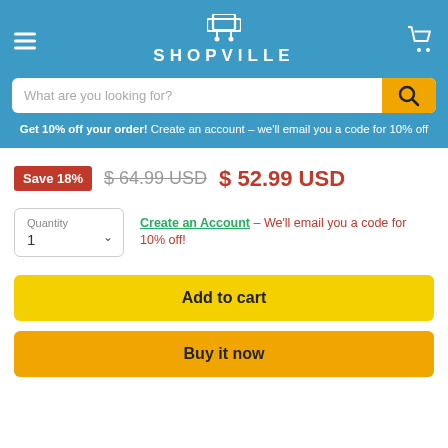SHOPVILLE
What are you looking for?
Get 10% off your order! Create an account - we'll email you a code for 10% off
Save 18% $64.99 USD $52.99 USD
Quantity 1 | Create an Account - We'll email you a code for 10% off!
Add to cart
Buy it now